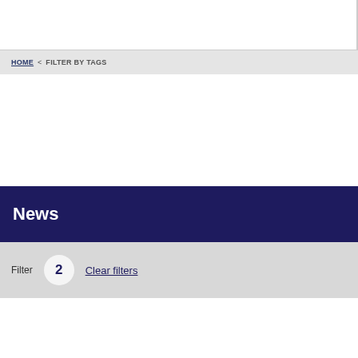HOME < FILTER BY TAGS
News
Filter  2  Clear filters